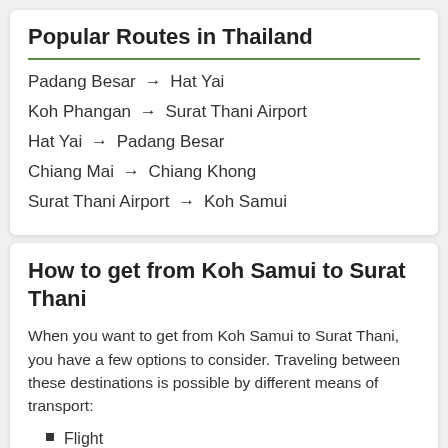Popular Routes in Thailand
Padang Besar → Hat Yai
Koh Phangan → Surat Thani Airport
Hat Yai → Padang Besar
Chiang Mai → Chiang Khong
Surat Thani Airport → Koh Samui
How to get from Koh Samui to Surat Thani
When you want to get from Koh Samui to Surat Thani, you have a few options to consider. Traveling between these destinations is possible by different means of transport:
Flight
Bus
Ferry